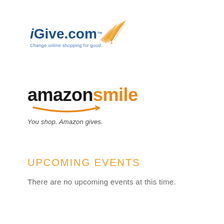[Figure (logo): iGive.com logo with orange feather/quill graphic above, blue bold text 'iGive.com' with trademark symbol, tagline 'Change online shopping for good.' in blue below]
[Figure (logo): AmazonSmile logo: 'amazon' in black bold, 'smile' in orange bold, orange smile/arrow underneath, tagline 'You shop. Amazon gives.' in italic below]
Upcoming Events
There are no upcoming events at this time.